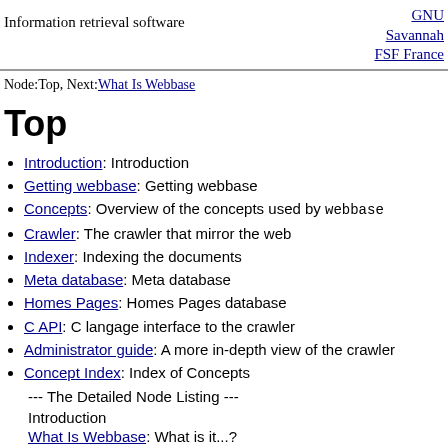Information retrieval software
GNU
Savannah
FSF France
Node:Top, Next:What Is Webbase
Top
Introduction: Introduction
Getting webbase: Getting webbase
Concepts: Overview of the concepts used by webbase
Crawler: The crawler that mirror the web
Indexer: Indexing the documents
Meta database: Meta database
Homes Pages: Homes Pages database
C API: C langage interface to the crawler
Administrator guide: A more in-depth view of the crawler
Concept Index: Index of Concepts
--- The Detailed Node Listing ---
Introduction
What Is Webbase: What is it...?